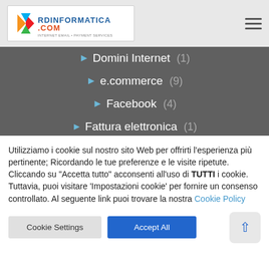RDInformatica.com
Blog (6)
CMS (6)
Comunicazioni Clienti (6)
Domini Internet (1)
e.commerce (9)
Facebook (4)
Fattura elettronica (1)
IPhone (6)
Mail (5)
Mobile (8)
Portali (9)
Utilizziamo i cookie sul nostro sito Web per offrirti l'esperienza più pertinente; Ricordando le tue preferenze e le visite ripetute. Cliccando su "Accetta tutto" acconsenti all'uso di TUTTI i cookie. Tuttavia, puoi visitare 'Impostazioni cookie' per fornire un consenso controllato. Al seguente link puoi trovare la nostra Cookie Policy
Cookie Settings
Accept All